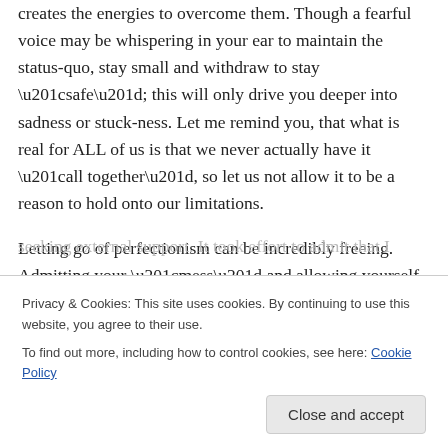creates the energies to overcome them. Though a fearful voice may be whispering in your ear to maintain the status-quo, stay small and withdraw to stay “safe”; this will only drive you deeper into sadness or stuck-ness. Let me remind you, that what is real for ALL of us is that we never actually have it “all together”, so let us not allow it to be a reason to hold onto our limitations.
Letting go of perfectionism can be incredibly freeing. Admitting your “mess” and allowing yourself a huge breath of self-acceptance is likely exactly what is needed to
seeking external support. It took effort to admit that I
Privacy & Cookies: This site uses cookies. By continuing to use this website, you agree to their use.
To find out more, including how to control cookies, see here: Cookie Policy